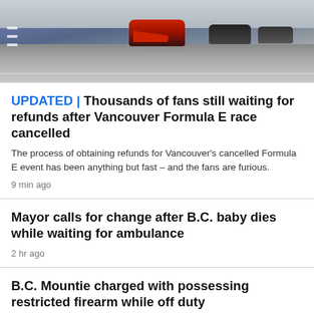[Figure (photo): Racing cars (Formula E) on a street circuit, shot from behind showing multiple cars racing on a grey road surface]
UPDATED | Thousands of fans still waiting for refunds after Vancouver Formula E race cancelled
The process of obtaining refunds for Vancouver's cancelled Formula E event has been anything but fast – and the fans are furious.
9 min ago
Mayor calls for change after B.C. baby dies while waiting for ambulance
2 hr ago
B.C. Mountie charged with possessing restricted firearm while off duty
1 hr ago